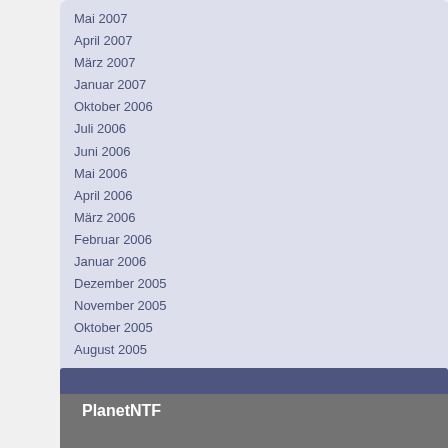Mai 2007
April 2007
März 2007
Januar 2007
Oktober 2006
Juli 2006
Juni 2006
Mai 2006
April 2006
März 2006
Februar 2006
Januar 2006
Dezember 2005
November 2005
Oktober 2005
August 2005
Juli 2005
Mai 2005
April 2005
September 2003
Juni 2000
Meta
Anmelden
PlanetNTF